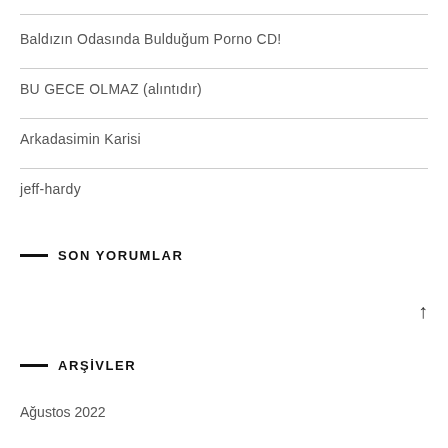Baldızın Odasında Bulduğum Porno CD!
BU GECE OLMAZ (alıntıdır)
Arkadasimin Karisi
jeff-hardy
SON YORUMLAR
ARŞİVLER
Ağustos 2022